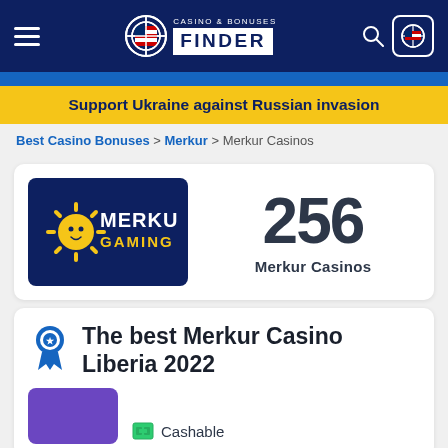CASINO & BONUSES FINDER
Support Ukraine against Russian invasion
Best Casino Bonuses > Merkur > Merkur Casinos
[Figure (logo): Merkur Gaming logo on dark blue background]
256 Merkur Casinos
The best Merkur Casino Liberia 2022
Cashable